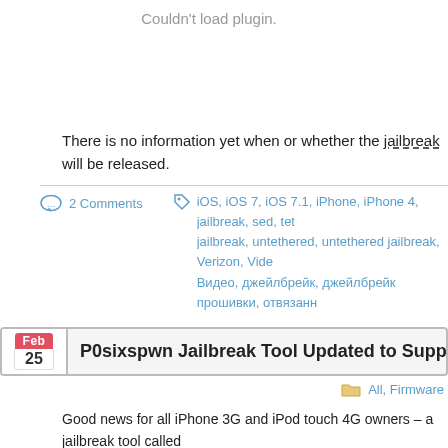[Figure (other): Plugin placeholder area showing 'Couldn't load plugin.' error message in gray text]
There is no information yet when or whether the jailbreak will be released.
2 Comments
iOS, iOS 7, iOS 7.1, iPhone, iPhone 4, jailbreak, sed, teth jailbreak, untethered, untethered jailbreak, Verizon, Video Видео, джейлбрейк, джейлбрейк прошивки, отвязанн
P0sixspwn Jailbreak Tool Updated to Support iOS 6.
All, Firmware
Good news for all iPhone 3G and iPod touch 4G owners – a jailbreak tool called been updated to support the recently released iOS 6.1.6. Using this small utility, perform an untethered jailbreak effortless.